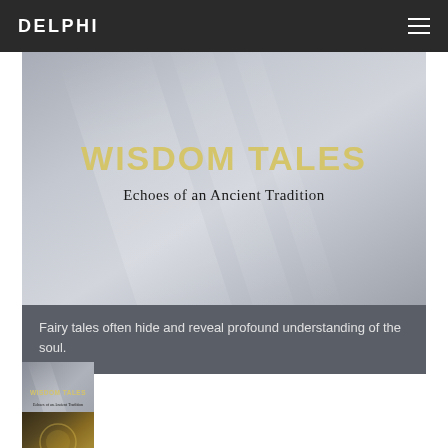DELPHI
[Figure (illustration): Hero banner image with gray gradient background and diagonal light streaks, showing 'WISDOM TALES' in gold text and 'Echoes of an Ancient Tradition' subtitle below]
Fairy tales often hide and reveal profound understanding of the soul.
[Figure (illustration): Small thumbnail image of the Wisdom Tales book cover with gold text on gray background]
[Figure (illustration): Small thumbnail image with gold/brown tones showing decorative imagery]